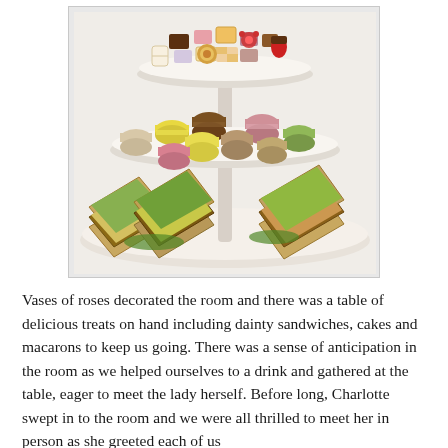[Figure (photo): A three-tiered afternoon tea stand photographed from above, showing sandwiches on the bottom tier, macarons in various colors (yellow, brown, pink, green, beige) on the middle tier, and small cakes, petit fours, and decorated sweets on the top tier. The stand sits on a white plate on a white tablecloth.]
Vases of roses decorated the room and there was a table of delicious treats on hand including dainty sandwiches, cakes and macarons to keep us going. There was a sense of anticipation in the room as we helped ourselves to a drink and gathered at the table, eager to meet the lady herself. Before long, Charlotte swept in to the room and we were all thrilled to meet her in person as she greeted each of us